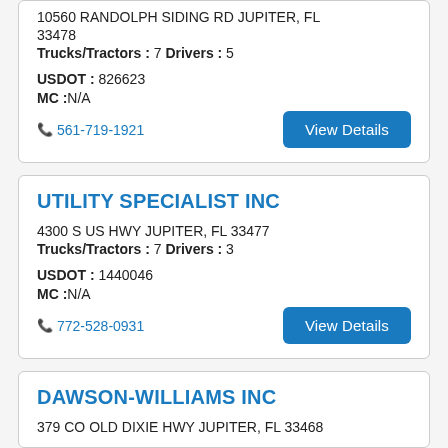10560 RANDOLPH SIDING RD JUPITER, FL 33478
Trucks/Tractors : 7 Drivers : 5
USDOT : 826623
MC :N/A
☎ 561-719-1921
UTILITY SPECIALIST INC
4300 S US HWY JUPITER, FL 33477
Trucks/Tractors : 7 Drivers : 3
USDOT : 1440046
MC :N/A
☎ 772-528-0931
DAWSON-WILLIAMS INC
379 CO OLD DIXIE HWY JUPITER, FL 33468